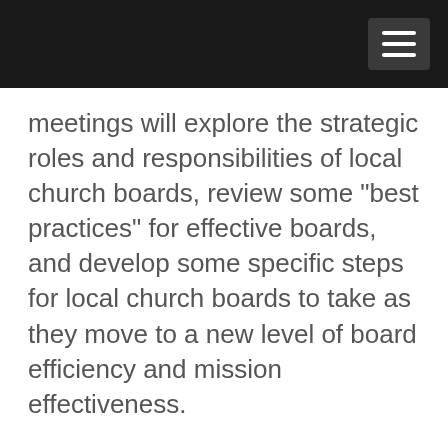meetings will explore the strategic roles and responsibilities of local church boards, review some “best practices” for effective boards, and develop some specific steps for local church boards to take as they move to a new level of board efficiency and mission effectiveness.
Pastors and boards who are in sync serve as catalysts for healthy and maturing congregations. Strong boards empower visionary and affirming pastors; strong pastors embrace engaged and passionate boards. The October meetings will explore this critical relationship and how it can be strengthened. Your participation in the questionnaire will assist me in gaining a broader, more global perspective on church board issues. It